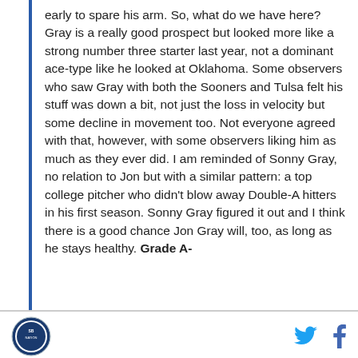early to spare his arm. So, what do we have here? Gray is a really good prospect but looked more like a strong number three starter last year, not a dominant ace-type like he looked at Oklahoma. Some observers who saw Gray with both the Sooners and Tulsa felt his stuff was down a bit, not just the loss in velocity but some decline in movement too. Not everyone agreed with that, however, with some observers liking him as much as they ever did. I am reminded of Sonny Gray, no relation to Jon but with a similar pattern: a top college pitcher who didn't blow away Double-A hitters in his first season. Sonny Gray figured it out and I think there is a good chance Jon Gray will, too, as long as he stays healthy. Grade A-
[Figure (logo): Circular logo with blue and white design, sports organization emblem]